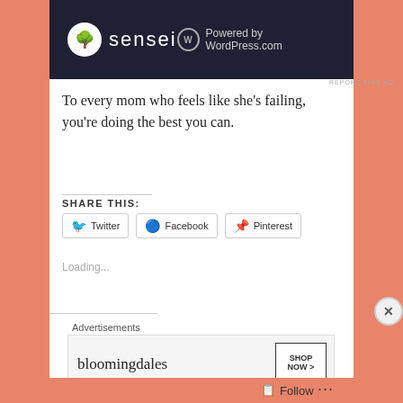[Figure (screenshot): Sensei theme advertisement banner with dark navy background showing sensei logo and 'Powered by WordPress.com' text]
To every mom who feels like she's failing, you're doing the best you can.
SHARE THIS:
Loading...
[Figure (screenshot): Bloomingdales advertisement banner with 'SHOP NOW >' button]